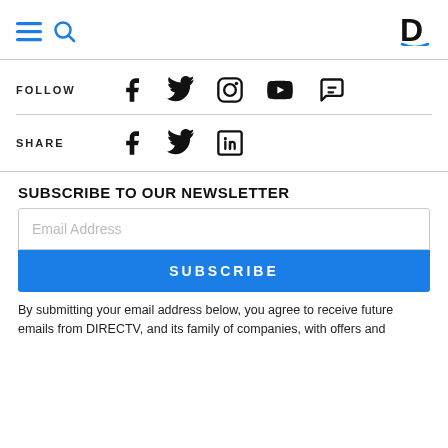Navigation bar with hamburger menu, search icon, and D logo
FOLLOW
[Figure (infographic): Social media follow icons: Facebook, Twitter, Instagram, YouTube, Chat/Comments]
SHARE
[Figure (infographic): Social media share icons: Facebook, Twitter, LinkedIn]
SUBSCRIBE TO OUR NEWSLETTER
Email Address
SUBSCRIBE
By submitting your email address below, you agree to receive future emails from DIRECTV, and its family of companies, with offers and